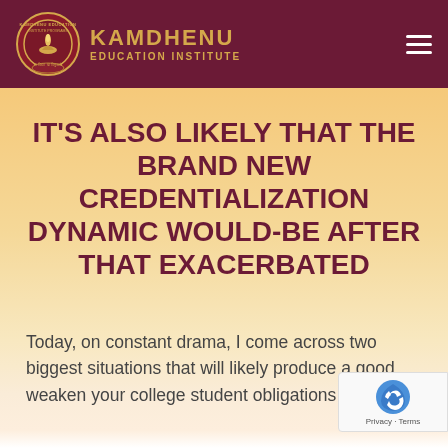KAMDHENU EDUCATION INSTITUTE
IT'S ALSO LIKELY THAT THE BRAND NEW CREDENTIALIZATION DYNAMIC WOULD-BE AFTER THAT EXACERBATED
Today, on constant drama, I come across two biggest situations that will likely produce a good weaken your college student obligations crisis.